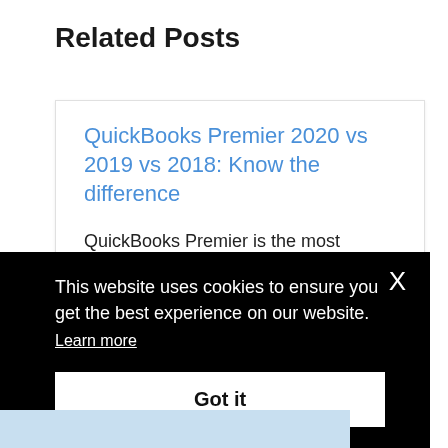Related Posts
QuickBooks Premier 2020 vs 2019 vs 2018: Know the difference
QuickBooks Premier is the most upgraded version among all th...
This website uses cookies to ensure you get the best experience on our website.
Learn more
Got it